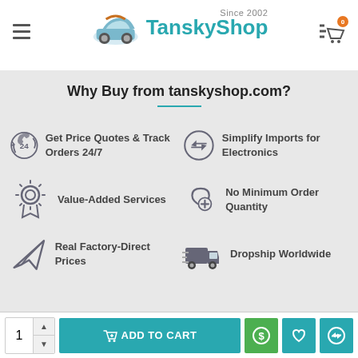[Figure (logo): TanskyShop logo with car icon and 'Since 2002' text]
Why Buy from tanskyshop.com?
Get Price Quotes & Track Orders 24/7
Simplify Imports for Electronics
Value-Added Services
No Minimum Order Quantity
Real Factory-Direct Prices
Dropship Worldwide
CUSTOMER SERVICE
MY ACCOUNT